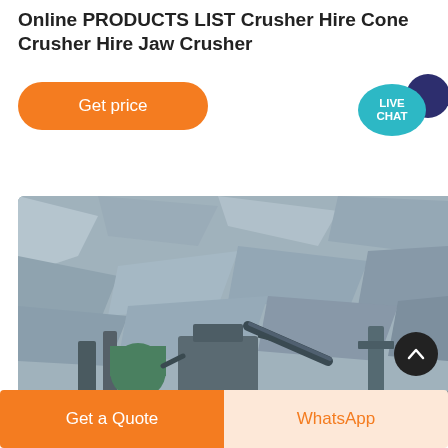Online PRODUCTS LIST Crusher Hire Cone Crusher Hire Jaw Crusher
[Figure (illustration): Orange 'Get price' button with rounded corners]
[Figure (illustration): Live Chat speech bubble icon with teal and dark navy circles]
[Figure (photo): Industrial crusher machinery in a quarry with rocky cliff face background]
[Figure (illustration): Scroll-to-top button, dark circle with upward chevron]
[Figure (illustration): Bottom bar with 'Get a Quote' orange button and 'WhatsApp' light orange button]